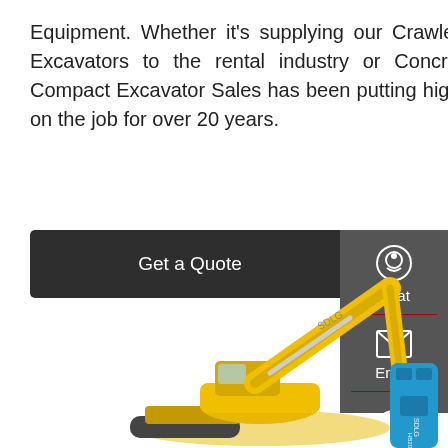Equipment. Whether it's supplying our Crawler Carriers to the oil & gas industry, Mini Excavators to the rental industry or Concrete Buggies to construction companies; Compact Excavator Sales has been putting high-quality, compact, construction equipment on the job for over 20 years.
[Figure (other): Dark rounded rectangle button with text 'Get a Quote' in white]
[Figure (infographic): Dark grey sidebar with Chat (headset icon), Email (envelope icon), and Contact (speech bubble icon) buttons separated by red horizontal lines]
[Figure (photo): Yellow SDLG excavator with a blue SDLG HB200 hydraulic breaker attachment, photographed against white background]